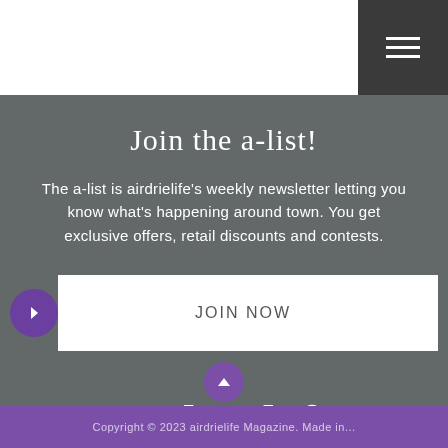[Figure (logo): Airdrielife website header with hamburger menu icon on dark background]
Join the a-list!
The a-list is airdrielife's weekly newsletter letting you know what's happening around town. You get exclusive offers, retail discounts and contests.
[Figure (other): Purple circle with right arrow next to white JOIN NOW button]
[Figure (logo): airdrielife logo with tagline 'celebrating the good life in airdrie']
Privacy Policy | Disclaimer
Copyright © 2023 airdrielife Magazine. Made in...